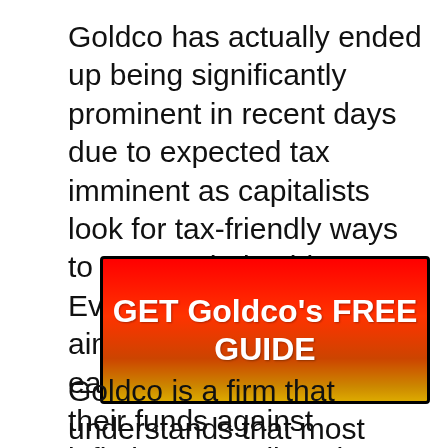Goldco has actually ended up being significantly prominent in recent days due to expected tax imminent as capitalists look for tax-friendly ways to protect their wide range. Even more individuals are aiming to invest in rare-earth elements to secure their funds against inflation, as well as the firm gives solutions to help capitalists with this.
[Figure (other): Red-to-gold gradient call-to-action button with text 'GET Goldco's FREE GUIDE' in bold white letters, bordered in black]
Goldco is a firm that understands that most individuals locate spending for retirement intimidating. Also after doing all the